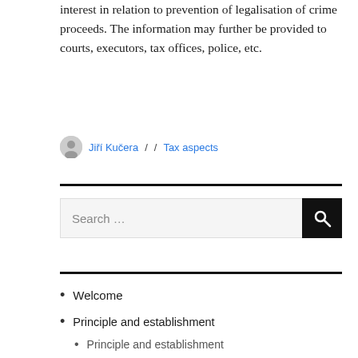interest in relation to prevention of legalisation of crime proceeds. The information may further be provided to courts, executors, tax offices, police, etc.
Jiří Kučera / / Tax aspects
[Figure (other): Horizontal black divider line]
[Figure (other): Search bar with text input field and black search button with magnifying glass icon. Placeholder text: Search ...]
[Figure (other): Horizontal black divider line]
Welcome
Principle and establishment
Principle and establishment